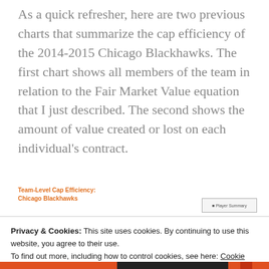As a quick refresher, here are two previous charts that summarize the cap efficiency of the 2014-2015 Chicago Blackhawks. The first chart shows all members of the team in relation to the Fair Market Value equation that I just described. The second shows the amount of value created or lost on each individual's contract.
Team-Level Cap Efficiency: Chicago Blackhawks
Privacy & Cookies: This site uses cookies. By continuing to use this website, you agree to their use.
To find out more, including how to control cookies, see here: Cookie Policy
Close and accept